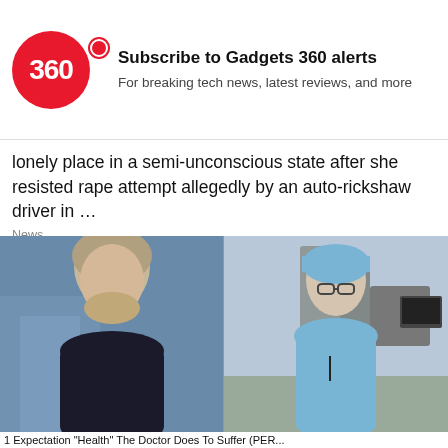[Figure (logo): Gadgets 360 red circle logo with '360' text and red dot]
Subscribe to Gadgets 360 alerts
For breaking tech news, latest reviews, and more
No   YES
lonely place in a semi-unconscious state after she resisted rape attempt allegedly by an auto-rickshaw driver in …
News
[Figure (photo): Composite photo: left side shows older man with gray hair and beard wearing black shirt; right side shows man in blue surgical scrubs and cap in a medical/operating room setting]
1 Expectation "Health" The Doctor Does To Suffer (PER...